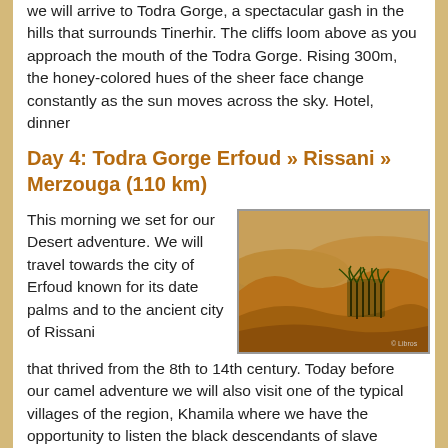we will arrive to Todra Gorge, a spectacular gash in the hills that surrounds Tinerhir. The cliffs loom above as you approach the mouth of the Todra Gorge. Rising 300m, the honey-colored hues of the sheer face change constantly as the sun moves across the sky. Hotel, dinner
Day 4: Todra Gorge Erfoud » Rissani » Merzouga (110 km)
This morning we set for our Desert adventure. We will travel towards the city of Erfoud known for its date palms and to the ancient city of Rissani that thrived from the 8th to 14th century. Today before our camel adventure we will also visit one of the typical villages of the region, Khamila where we have the opportunity to listen the black descendants of slave
[Figure (photo): Desert sand dunes with palm trees and golden light, Merzouga/Erg Chebbi area Morocco]